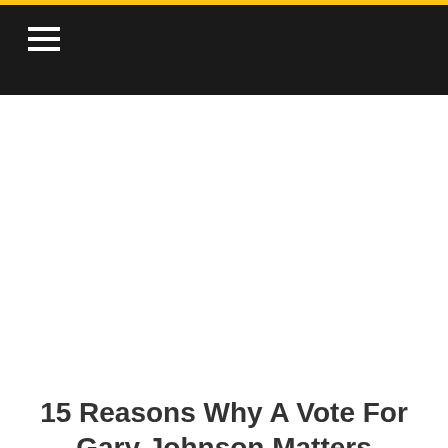[Figure (other): Twitter Tweet button with bird icon]
Comments
15 Reasons Why A Vote For Gary Johnson Matters